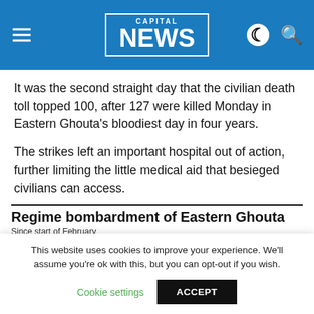CAPITAL NEWS
It was the second straight day that the civilian death toll topped 100, after 127 were killed Monday in Eastern Ghouta's bloodiest day in four years.
The strikes left an important hospital out of action, further limiting the little medical aid that besieged civilians can access.
[Figure (map): Map titled 'Regime bombardment of Eastern Ghouta – Since start of February' showing Eastern Ghouta region with Douma and Harasta labeled, a red star marker, and a legend indicating rebel-held enclave in purple.]
This website uses cookies to improve your experience. We'll assume you're ok with this, but you can opt-out if you wish.